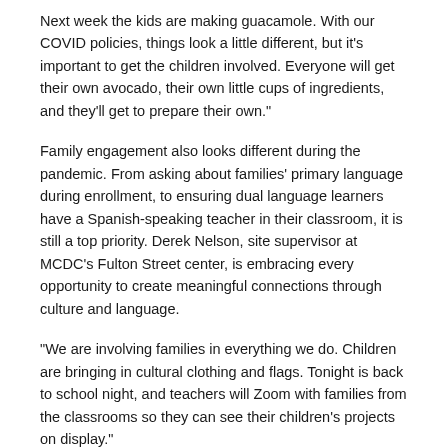Next week the kids are making guacamole. With our COVID policies, things look a little different, but it’s important to get the children involved. Everyone will get their own avocado, their own little cups of ingredients, and they’ll get to prepare their own.”
Family engagement also looks different during the pandemic. From asking about families’ primary language during enrollment, to ensuring dual language learners have a Spanish-speaking teacher in their classroom, it is still a top priority. Derek Nelson, site supervisor at MCDC’s Fulton Street center, is embracing every opportunity to create meaningful connections through culture and language.
“We are involving families in everything we do. Children are bringing in cultural clothing and flags. Tonight is back to school night, and teachers will Zoom with families from the classrooms so they can see their children’s projects on display.”
Some of those projects include paper sombreros, home-made maracas, and collaged flags from different countries.
“We’re thinking beyond just the crafts,” says Derek. “With our Early Head Start classes, we got creative about making those